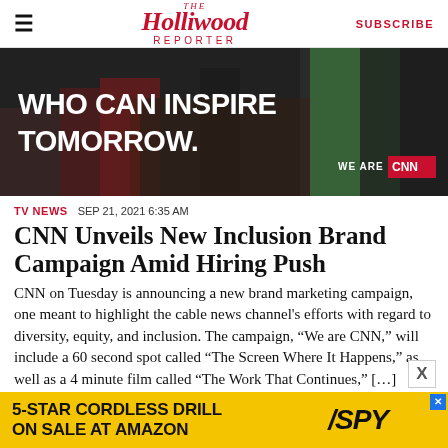The Hollywood Reporter | SUBSCRIBE
[Figure (photo): CNN brand campaign advertisement image showing people (silhouettes/figures) with bold white text 'WHO CAN INSPIRE TOMORROW.' and 'WE ARE CNN' badge in bottom right corner on a dark background.]
TV NEWS  SEP 21, 2021 6:35 AM
CNN Unveils New Inclusion Brand Campaign Amid Hiring Push
CNN on Tuesday is announcing a new brand marketing campaign, one meant to highlight the cable news channel's efforts with regard to diversity, equity, and inclusion. The campaign, “We are CNN,” will include a 60 second spot called “The Screen Where It Happens,” as well as a 4 minute film called “The Work That Continues,” […]
BY ALEX WEPRIN
[Figure (advertisement): Yellow background advertisement: '5-STAR CORDLESS DRILL ON SALE AT AMAZON' with SPY logo in italic black text.]